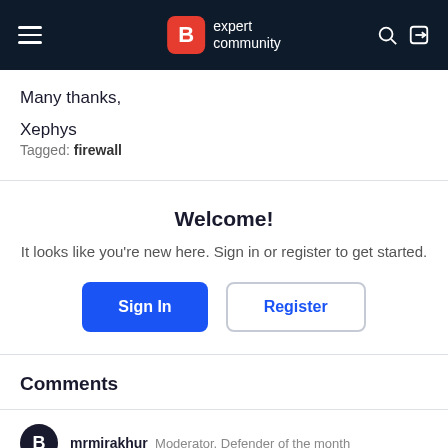[Figure (screenshot): Navigation header bar with hamburger menu, Bitdefender B logo with 'expert community' text, search icon, and sign-in icon]
Many thanks,
Xephys
Tagged: firewall
Welcome!
It looks like you're new here. Sign in or register to get started.
Sign In
Register
Comments
mrmirakhur  Moderator, Defender of the month